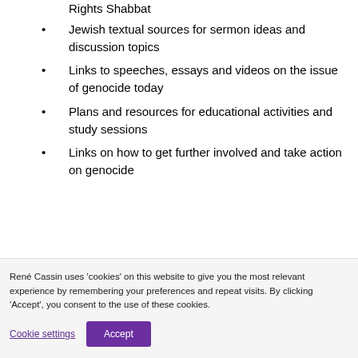Rights Shabbat
Jewish textual sources for sermon ideas and discussion topics
Links to speeches, essays and videos on the issue of genocide today
Plans and resources for educational activities and study sessions
Links on how to get further involved and take action on genocide
René Cassin uses 'cookies' on this website to give you the most relevant experience by remembering your preferences and repeat visits. By clicking 'Accept', you consent to the use of these cookies.
Cookie settings | Accept